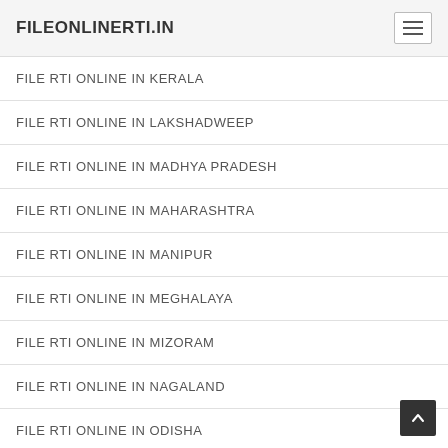FILEONLINERTI.IN
FILE RTI ONLINE IN KERALA
FILE RTI ONLINE IN LAKSHADWEEP
FILE RTI ONLINE IN MADHYA PRADESH
FILE RTI ONLINE IN MAHARASHTRA
FILE RTI ONLINE IN MANIPUR
FILE RTI ONLINE IN MEGHALAYA
FILE RTI ONLINE IN MIZORAM
FILE RTI ONLINE IN NAGALAND
FILE RTI ONLINE IN ODISHA
FILE RTI ONLINE IN PONDICHERRY